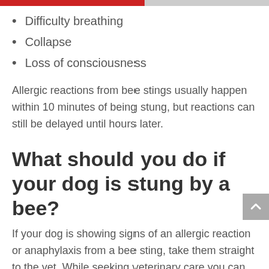Difficulty breathing
Collapse
Loss of consciousness
Allergic reactions from bee stings usually happen within 10 minutes of being stung, but reactions can still be delayed until hours later.
What should you do if your dog is stung by a bee?
If your dog is showing signs of an allergic reaction or anaphylaxis from a bee sting, take them straight to the vet. While seeking veterinary care you can also follow these steps to help your dog: